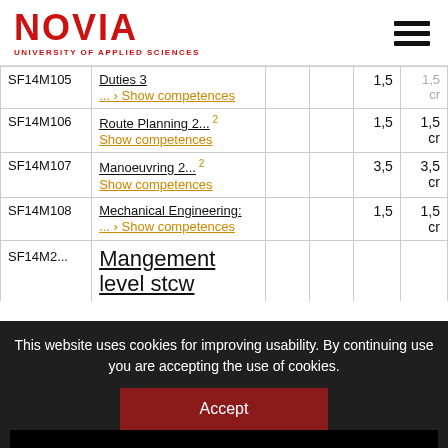NOVIA UNIVERSITY OF APPLIED SCIENCES
| Code | Name |  |  | Credits | cr |
| --- | --- | --- | --- | --- | --- |
| SF14M105 | Duties 3 ... › Show competences |  |  | 1,5 | 1,5 cr |
| SF14M106 | Route Planning 2... Show competences |  |  | 1,5 | 1,5 cr |
| SF14M107 | Manoeuvring 2... Show competences |  |  | 3,5 | 3,5 cr |
| SF14M108 | Mechanical Engineering: ... › Show competences |  |  | 1,5 | 1,5 cr |
| SF14M2... | Mangement level stcw |  |  |  |  |
This website uses cookies for improving usability. By continuing use you are accepting the use of cookies.
Accept